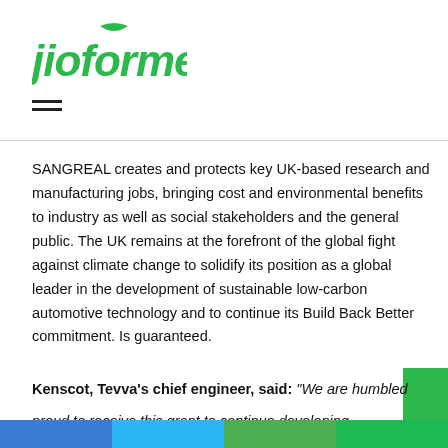[Figure (logo): Jioforme logo in green italic text with a small leaf/swoosh accent above]
[Figure (other): Hamburger menu icon with two horizontal lines]
SANGREAL creates and protects key UK-based research and manufacturing jobs, bringing cost and environmental benefits to industry as well as social stakeholders and the general public. The UK remains at the forefront of the global fight against climate change to solidify its position as a global leader in the development of sustainable low-carbon automotive technology and to continue its Build Back Better commitment. Is guaranteed.
Kenscot, Tevva's chief engineer, said: "We are humbled proud to receive this grant to continue developing Tevva's